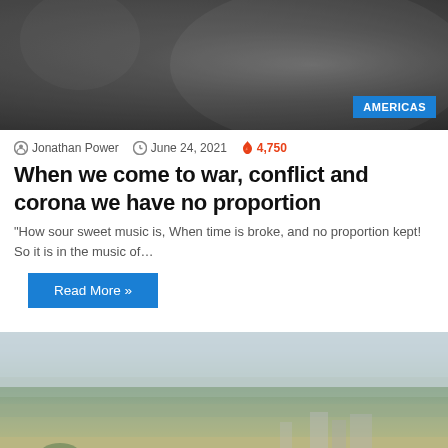[Figure (photo): Dark grayscale photo showing a person's torso/jacket in close-up, with AMERICAS badge overlay in bottom right]
Jonathan Power   June 24, 2021   4,750
When we come to war, conflict and corona we have no proportion
“How sour sweet music is, When time is broke, and no proportion kept! So it is in the music of…
Read More »
[Figure (photo): Aerial/overhead photograph of a dense urban cityscape with buildings and trees, overcast sky, with a blue scroll-to-top button in the bottom right corner]